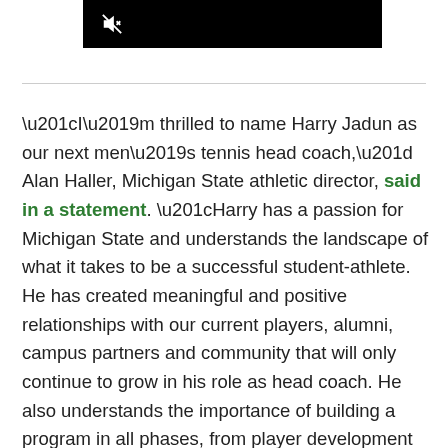[Figure (screenshot): Black video thumbnail with muted/no-audio icon in top-left corner]
“I’m thrilled to name Harry Jadun as our next men’s tennis head coach,” Alan Haller, Michigan State athletic director, said in a statement. “Harry has a passion for Michigan State and understands the landscape of what it takes to be a successful student-athlete. He has created meaningful and positive relationships with our current players, alumni, campus partners and community that will only continue to grow in his role as head coach. He also understands the importance of building a program in all phases, from player development on and off the court, to recruiting and fund raising. I believe great things are on the horizon for our men’s tennis program under Harry’s